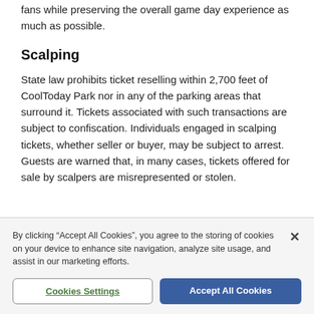fans while preserving the overall game day experience as much as possible.
Scalping
State law prohibits ticket reselling within 2,700 feet of CoolToday Park nor in any of the parking areas that surround it. Tickets associated with such transactions are subject to confiscation. Individuals engaged in scalping tickets, whether seller or buyer, may be subject to arrest. Guests are warned that, in many cases, tickets offered for sale by scalpers are misrepresented or stolen.
By clicking “Accept All Cookies”, you agree to the storing of cookies on your device to enhance site navigation, analyze site usage, and assist in our marketing efforts.